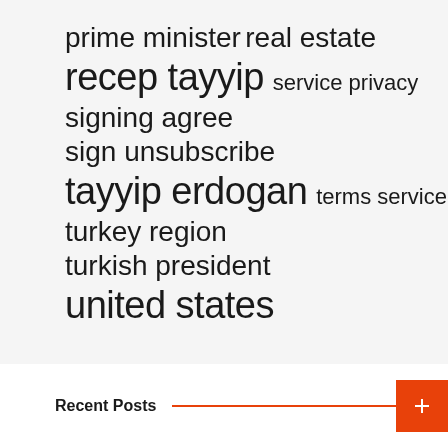prime minister  real estate
recep tayyip  service privacy
signing agree
sign unsubscribe
tayyip erdogan  terms service
turkey region
turkish president
united states
Recent Posts